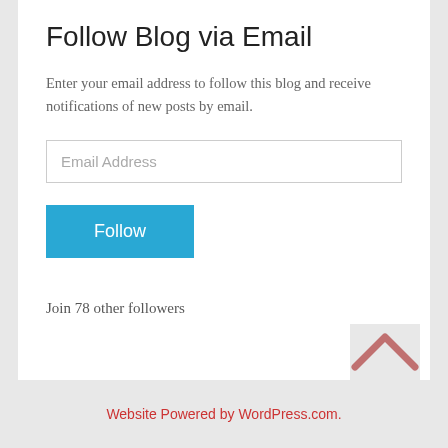Follow Blog via Email
Enter your email address to follow this blog and receive notifications of new posts by email.
Email Address
Follow
Join 78 other followers
Website Powered by WordPress.com.